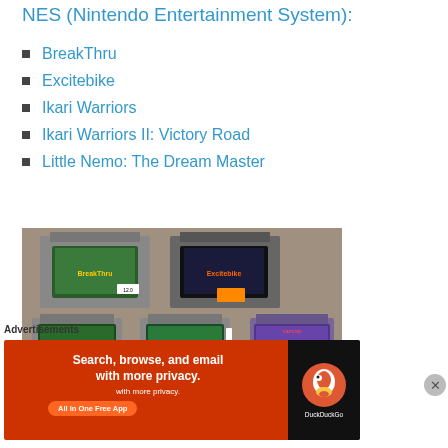NES (Nintendo Entertainment System):
BreakThru
Excitebike
Ikari Warriors
Ikari Warriors II: Victory Road
Little Nemo: The Dream Master
[Figure (photo): Photo of five NES (Nintendo Entertainment System) cartridges laid out on a carpeted surface. Two cartridges in the back row and three in the front row, each showing their label artwork.]
Advertisements
Search, browse, and email with more privacy. All in One Free App — DuckDuckGo